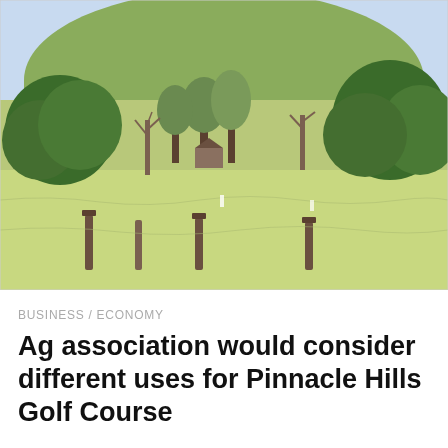[Figure (photo): Outdoor landscape photo showing a grassy field in the foreground with wooden fence posts, trees in the middle ground including bare deciduous trees and green conifers, a house visible among the trees, and a green hillside in the background under a blue sky.]
BUSINESS / ECONOMY
Ag association would consider different uses for Pinnacle Hills Golf Course